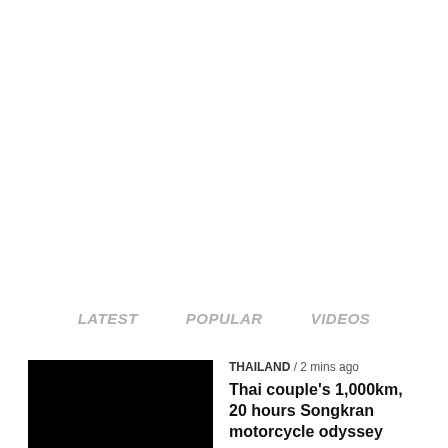LATEST   POPULAR   VIDEOS
[Figure (photo): Black thumbnail image placeholder for article]
THAILAND / 2 mins ago
Thai couple’s 1,000km, 20 hours Songkran motorcycle odyssey